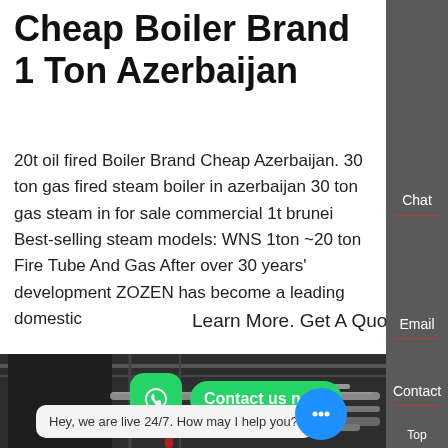Cheap Boiler Brand 1 Ton Azerbaijan
20t oil fired Boiler Brand Cheap Azerbaijan. 30 ton gas fired steam boiler in azerbaijan 30 ton gas steam in for sale commercial 1t brunei Best-selling steam models: WNS 1ton ~20 ton Fire Tube And Gas After over 30 years' development ZOZEN has become a leading domestic
Learn More. Get A Quote
[Figure (screenshot): Industrial boiler facility interior showing large tanks, pipes and ductwork in a factory setting]
Chat
Email
Contact
Contact us now!
Hey, we are live 24/7. How may I help you?
Top